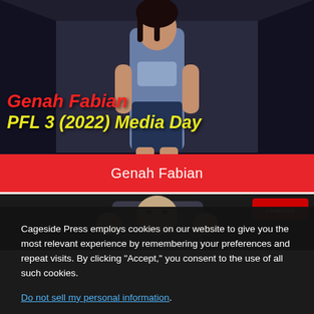[Figure (photo): Photo of Genah Fabian, female MMA fighter in blue sports bra, standing in front of a dark background. Text overlay reads 'Genah Fabian' in red italic and 'PFL 3 (2022) Media Day' in yellow italic.]
Genah Fabian
[Figure (photo): Partial photo of a male MMA fighter flexing his fists with a Cageside logo in the upper right corner.]
Cageside Press employs cookies on our website to give you the most relevant experience by remembering your preferences and repeat visits. By clicking “Accept,” you consent to the use of all such cookies.
Do not sell my personal information.